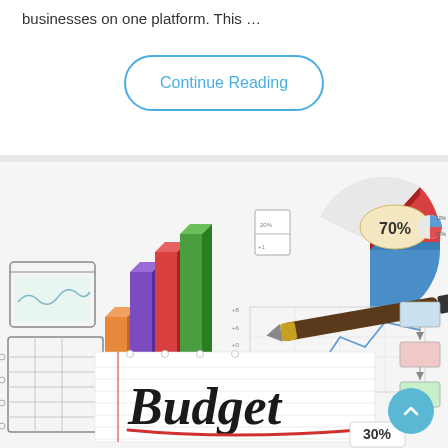businesses on one platform. This …
Continue Reading
[Figure (illustration): Budget concept illustration showing a notepad with 'Budget' written in large script with a red underline, surrounded by bar charts, pie charts, a pen, and various financial diagrams including a 70% bubble chart and 30% label.]